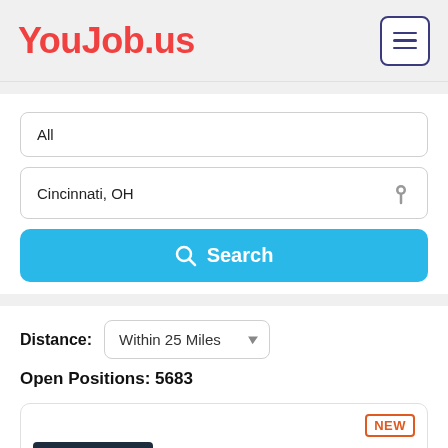YouJob.us
All
Cincinnati, OH
Search
Distance: Within 25 Miles
Open Positions: 5683
[Figure (screenshot): Job listing card with NEW badge and dark bar]